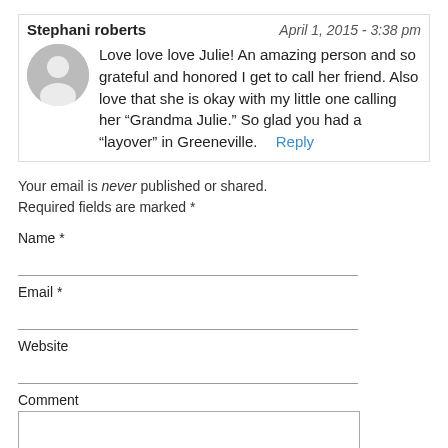Stephani roberts  April 1, 2015 - 3:38 pm
Love love love Julie! An amazing person and so grateful and honored I get to call her friend. Also love that she is okay with my little one calling her “Grandma Julie.” So glad you had a “layover” in Greeneville.   Reply
Your email is never published or shared. Required fields are marked *
Name *
Email *
Website
Comment